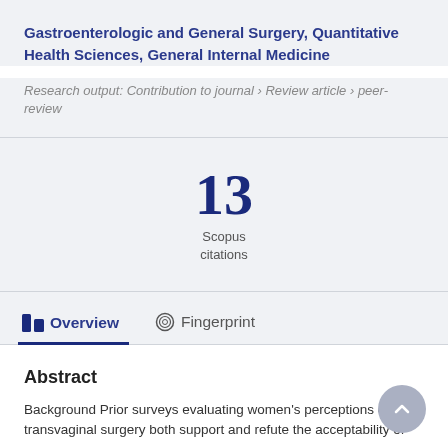Gastroenterologic and General Surgery, Quantitative Health Sciences, General Internal Medicine
Research output: Contribution to journal › Review article › peer-review
13 Scopus citations
Overview
Fingerprint
Abstract
Background Prior surveys evaluating women's perceptions of transvaginal surgery both support and refute the acceptability of